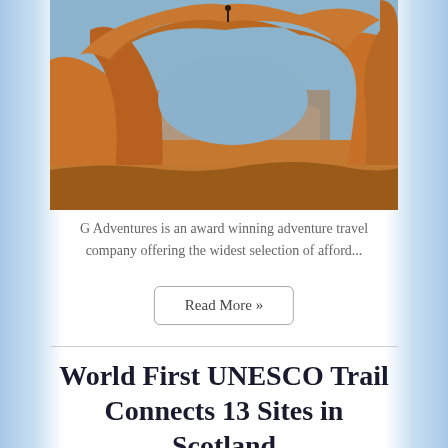[Figure (photo): A large natural sandstone arch photographed against a blue sky, with mountains visible through the arch opening. A person stands on top of the arch. The foreground shows sandy desert terrain with warm orange-brown rock tones.]
G Adventures is an award winning adventure travel company offering the widest selection of afford...
Read More »
World First UNESCO Trail Connects 13 Sites in Scotland